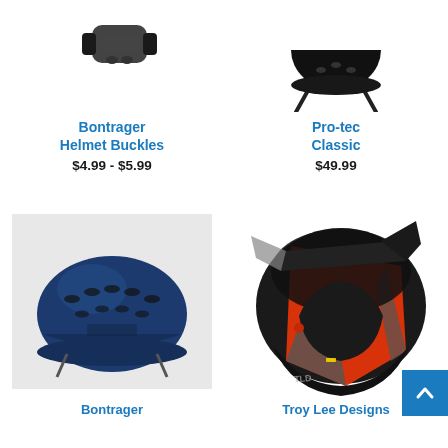[Figure (photo): Bontrager Helmet Buckles product image (partial, cropped at top)]
Bontrager
Helmet Buckles
$4.99 - $5.99
[Figure (photo): Pro-tec Classic helmet product image (partial, cropped at top)]
Pro-tec
Classic
$49.99
[Figure (photo): Bontrager blue bicycle helmet product image]
Bontrager
[Figure (photo): Troy Lee Designs full-face helmet in black, red and grey]
Troy Lee Designs